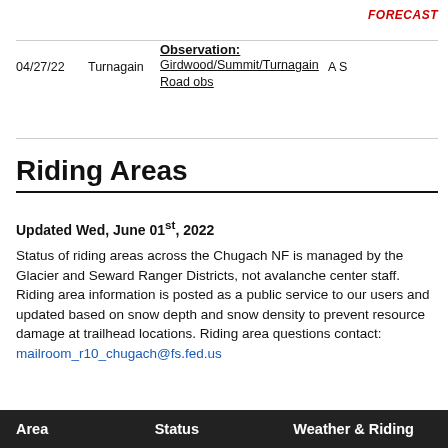FORECAST
|  |  | Observation: |  |
| --- | --- | --- | --- |
| 04/27/22 | Turnagain | Girdwood/Summit/Turnagain Road obs | A S |
Riding Areas
Updated Wed, June 01st, 2022
Status of riding areas across the Chugach NF is managed by the Glacier and Seward Ranger Districts, not avalanche center staff. Riding area information is posted as a public service to our users and updated based on snow depth and snow density to prevent resource damage at trailhead locations. Riding area questions contact: mailroom_r10_chugach@fs.fed.us
| Area | Status | Weather & Riding |
| --- | --- | --- |